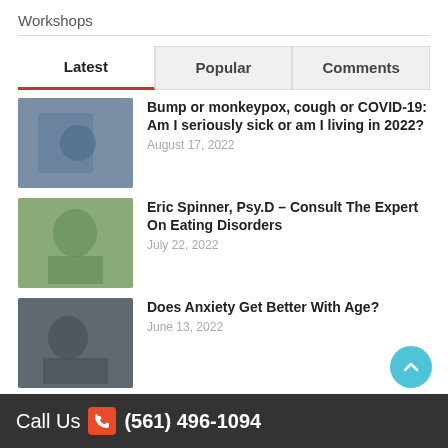Workshops
Latest | Popular | Comments
Bump or monkeypox, cough or COVID-19: Am I seriously sick or am I living in 2022? — August 17, 2022
Eric Spinner, Psy.D – Consult The Expert On Eating Disorders — July 22, 2022
Does Anxiety Get Better With Age? — June 13, 2022
Call Us (561) 496-1094